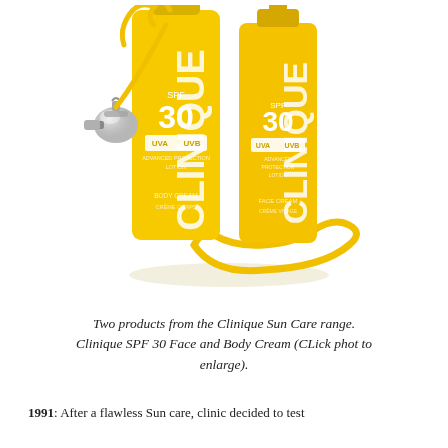[Figure (photo): Two yellow Clinique SPF 30 sunscreen tubes (Face Cream and Body Cream) with a silver whistle attached to a yellow lanyard/cord, on a white background.]
Two products from the Clinique Sun Care range. Clinique SPF 30 Face and Body Cream (CLick phot to enlarge).
1991: After a flawless Sun care, clinic decided to test